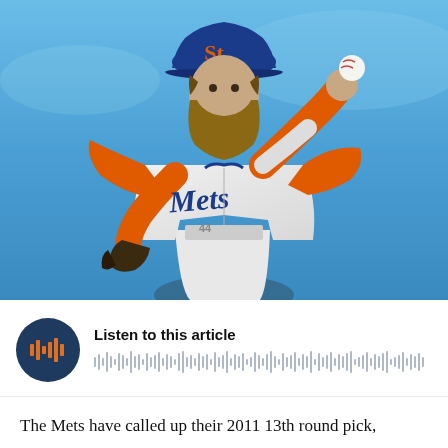[Figure (photo): A New York Mets baseball pitcher in white uniform with orange sleeves and blue cap, in mid-throwing motion against a blue sky background]
[Figure (other): Audio player widget with dark navy circular play button showing orange speaker/waveform icon, text 'Listen to this article', and an audio waveform visualization]
The Mets have called up their 2011 13th round pick,